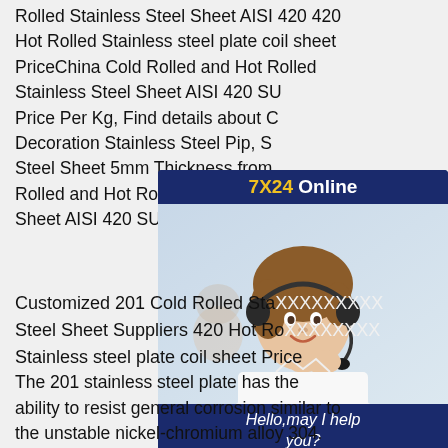Rolled Stainless Steel Sheet AISI 420 420 Hot Rolled Stainless steel plate coil sheet PriceChina Cold Rolled and Hot Rolled Stainless Steel Sheet AISI 420 SU... Price Per Kg, Find details about C... Decoration Stainless Steel Pip, S... Steel Sheet 5mm Thickness from... Rolled and Hot Rolled Stainless S... Sheet AISI 420 SUS420J1 Price ...
[Figure (photo): Customer service chat widget with a woman wearing a headset, dark navy blue background, '7X24 Online' header in yellow and white, 'Hello, may I help you?' message, and a yellow 'Get Latest Price' button.]
Customized 201 Cold Rolled Sta... Steel Sheet Suppliers 420 Hot Ro... Stainless steel plate coil sheet Price
The 201 stainless steel plate has the ability to resist general corrosion similar to the unstable nickel-chromium alloy 304. Long-term heating of 201 stainless steel